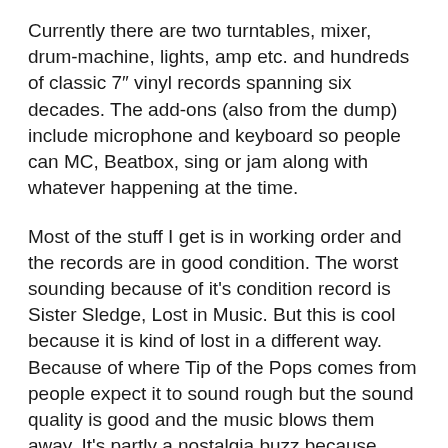Currently there are two turntables, mixer, drum-machine, lights, amp etc. and hundreds of classic 7" vinyl records spanning six decades. The add-ons (also from the dump) include microphone and keyboard so people can MC, Beatbox, sing or jam along with whatever happening at the time.
Most of the stuff I get is in working order and the records are in good condition. The worst sounding because of it's condition record is Sister Sledge, Lost in Music. But this is cool because it is kind of lost in a different way. Because of where Tip of the Pops comes from people expect it to sound rough but the sound quality is good and the music blows them away. It's partly a nostalgia buzz because people remember saving up to buy the records and then playing them over and over whilst growing up.
A lot of younger kids have not even seen or used a turntable before and as the gear did not cost me anything I am happy to let anyone have a go. There will always be more equipment and